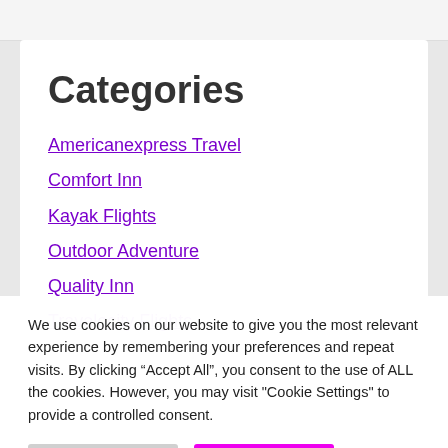Categories
Americanexpress Travel
Comfort Inn
Kayak Flights
Outdoor Adventure
Quality Inn
Travelocity Flights
We use cookies on our website to give you the most relevant experience by remembering your preferences and repeat visits. By clicking “Accept All”, you consent to the use of ALL the cookies. However, you may visit "Cookie Settings" to provide a controlled consent.